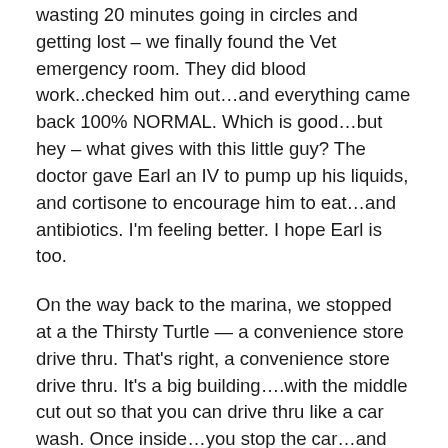wasting 20 minutes going in circles and getting lost – we finally found the Vet emergency room. They did blood work..checked him out…and everything came back 100% NORMAL. Which is good…but hey – what gives with this little guy? The doctor gave Earl an IV to pump up his liquids, and cortisone to encourage him to eat…and antibiotics. I'm feeling better. I hope Earl is too.
On the way back to the marina, we stopped at a the Thirsty Turtle — a convenience store drive thru. That's right, a convenience store drive thru. It's a big building….with the middle cut out so that you can drive thru like a car wash. Once inside…you stop the car…and some teenage kid comes up to your window and asks you what you want. You tell him soda…chips whatever…and he brings it to your car…you pay…and drive out the other side of the building. I love Snead's Ferry.